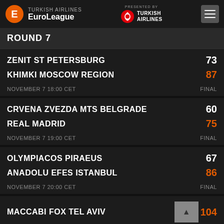Turkish Airlines EuroLeague — presented by Turkish Airlines
ROUND 7
| Team | Score |
| --- | --- |
| ZENIT ST PETERSBURG | 73 |
| KHIMKI MOSCOW REGION | 87 |
| NOVEMBER 7 18:00 CET | FINAL |
| Team | Score |
| --- | --- |
| CRVENA ZVEZDA MTS BELGRADE | 60 |
| REAL MADRID | 75 |
| NOVEMBER 7 19:00 CET | FINAL |
| Team | Score |
| --- | --- |
| OLYMPIACOS PIRAEUS | 67 |
| ANADOLU EFES ISTANBUL | 86 |
| NOVEMBER 7 20:00 CET | FINAL |
| Team | Score |
| --- | --- |
| MACCABI FOX TEL AVIV | 104 |
| ALBA BERLIN | 78 |
| NOVEMBER 7 20:05 CET | FINAL |